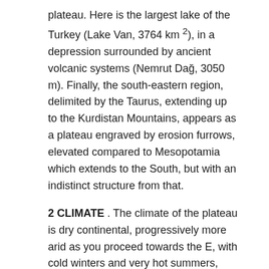plateau. Here is the largest lake of the Turkey (Lake Van, 3764 km 2), in a depression surrounded by ancient volcanic systems (Nemrut Dağ, 3050 m). Finally, the south-eastern region, delimited by the Taurus, extending up to the Kurdistan Mountains, appears as a plateau engraved by erosion furrows, elevated compared to Mesopotamia which extends to the South, but with an indistinct structure from that.
2 CLIMATE . The climate of the plateau is dry continental, progressively more arid as you proceed towards the E, with cold winters and very hot summers, strong temperature variations and reduced rainfall, as the coastal ranges block the humid currents coming from the sea. On the north coast, mild summers are followed by rather cold winters, with frequent rainfall in every season. Mediterranean climatic conditions occur in the Aegean region, where the valleys that penetrate inland allow the passage of sea winds, and in the southern one, overlooking the